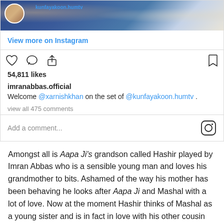[Figure (screenshot): Instagram post screenshot showing photo strip with username kunfayakoon.humtv, View more on Instagram link, action icons (like, comment, share, bookmark), 54,811 likes, caption by imranabbas.official welcoming @xarnishkhan on the set of @kunfayakoon.humtv, view all 475 comments, and Add a comment field]
Amongst all is Aapa Ji's grandson called Hashir played by Imran Abbas who is a sensible young man and loves his grandmother to bits. Ashamed of the way his mother has been behaving he looks after Aapa Ji and Mashal with a lot of love. Now at the moment Hashir thinks of Mashal as a young sister and is in fact in love with his other cousin Bisma played